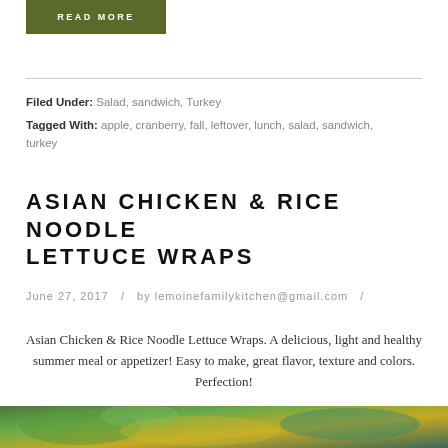READ MORE
Filed Under: Salad, sandwich, Turkey
Tagged With: apple, cranberry, fall, leftover, lunch, salad, sandwich, turkey
ASIAN CHICKEN & RICE NOODLE LETTUCE WRAPS
June 27, 2017  /  by lemoinefamilykitchen@gmail.com  /
Asian Chicken & Rice Noodle Lettuce Wraps. A delicious, light and healthy summer meal or appetizer! Easy to make, great flavor, texture and colors. Perfection!
[Figure (photo): Partial bottom image strip showing a food photograph of the lettuce wraps]